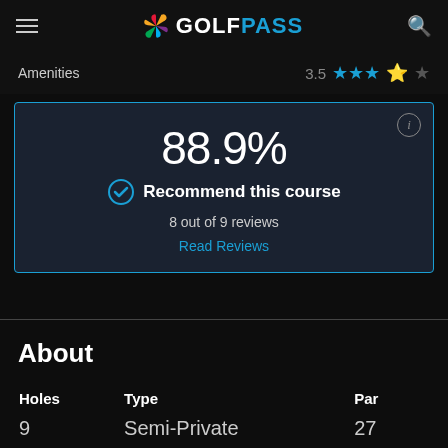GOLFPASS
Amenities  3.5 ★★★★☆
[Figure (infographic): Recommendation box showing 88.9% recommend this course, 8 out of 9 reviews, with a Read Reviews link and info button]
About
| Holes | Type | Par |
| --- | --- | --- |
| 9 | Semi-Private | 27 |